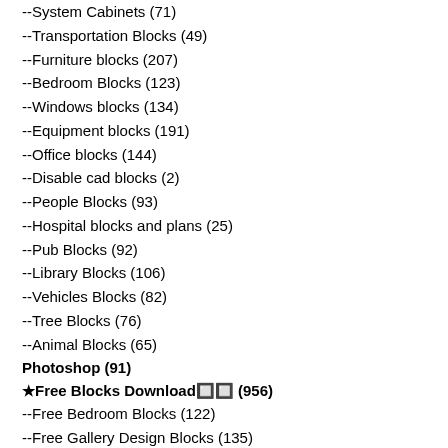--System Cabinets (71)
--Transportation Blocks (49)
--Furniture blocks (207)
--Bedroom Blocks (123)
--Windows blocks (134)
--Equipment blocks (191)
--Office blocks (144)
--Disable cad blocks (2)
--People Blocks (93)
--Hospital blocks and plans (25)
--Pub Blocks (92)
--Library Blocks (106)
--Vehicles Blocks (82)
--Tree Blocks (76)
--Animal Blocks (65)
Photoshop (91)
★Free Blocks Download🔲🔲 (956)
--Free Bedroom Blocks (122)
--Free Gallery Design Blocks (135)
--Free Hospital blocks and plans (11)
--Free Library Blocks (120)